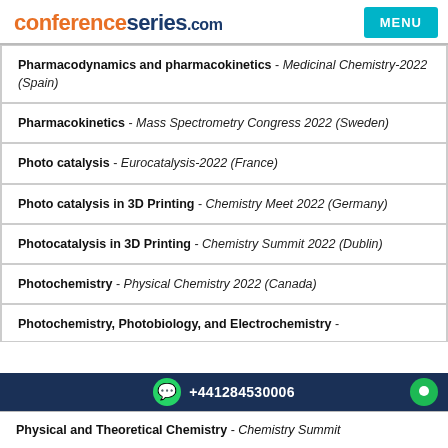conferenceseries.com
Pharmacodynamics and pharmacokinetics - Medicinal Chemistry-2022 (Spain)
Pharmacokinetics - Mass Spectrometry Congress 2022 (Sweden)
Photo catalysis - Eurocatalysis-2022 (France)
Photo catalysis in 3D Printing - Chemistry Meet 2022 (Germany)
Photocatalysis in 3D Printing - Chemistry Summit 2022 (Dublin)
Photochemistry - Physical Chemistry 2022 (Canada)
Photochemistry, Photobiology, and Electrochemistry -
+441284530006
Physical and Theoretical Chemistry - Chemistry Summit